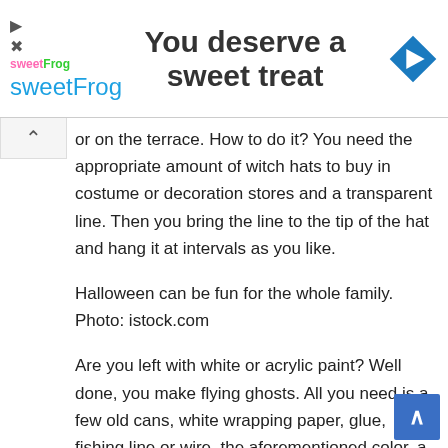[Figure (logo): sweetFrog advertisement banner with logo, tagline 'You deserve a sweet treat sweetFrog', and a blue diamond navigation icon]
or on the terrace. How to do it? You need the appropriate amount of witch hats to buy in costume or decoration stores and a transparent line. Then you bring the line to the tip of the hat and hang it at intervals as you like.
Halloween can be fun for the whole family. Photo: istock.com
Are you left with white or acrylic paint? Well done, you make flying ghosts. All you need is a few old cans, white wrapping paper, glue, fishing line or wire, the aforementioned color, a thick black marker and we ready to go. Rather, prepare a good dose of old